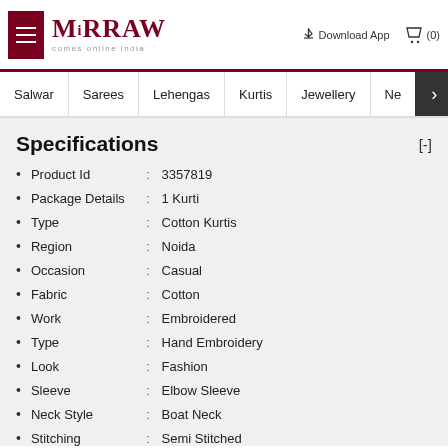Mirraw — comes online india | Download App | Cart (0)
Salwar | Sarees | Lehengas | Kurtis | Jewellery | Ne >
Specifications [-]
Product Id : 3357819
Package Details : 1 Kurti
Type : Cotton Kurtis
Region : Noida
Occasion : Casual
Fabric : Cotton
Work : Embroidered
Type : Hand Embroidery
Look : Fashion
Sleeve : Elbow Sleeve
Neck Style : Boat Neck
Stitching : Semi Stitched